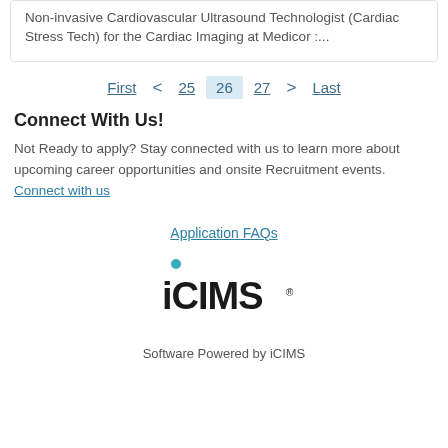Non-invasive Cardiovascular Ultrasound Technologist (Cardiac Stress Tech) for the Cardiac Imaging at Medicor :...
First < 25 26 27 > Last
Connect With Us!
Not Ready to apply? Stay connected with us to learn more about upcoming career opportunities and onsite Recruitment events. Connect with us
Application FAQs
[Figure (logo): iCIMS logo with teal dot above the letter i]
Software Powered by iCIMS